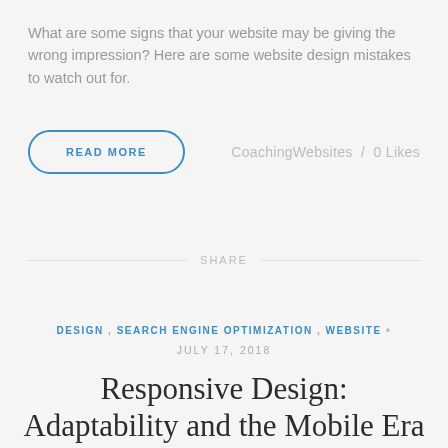What are some signs that your website may be giving the wrong impression? Here are some website design mistakes to watch out for.
READ MORE
CoachingWebsites / 0 Likes
SHARE
DESIGN , SEARCH ENGINE OPTIMIZATION , WEBSITE •
JULY 17, 2018
Responsive Design: Adaptability and the Mobile Era